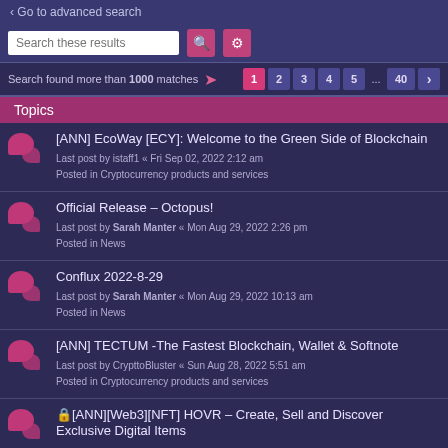< Go to advanced search
Search these results
Search found more than 1000 matches  1 2 3 4 5 ... 40 >
Topics
[ANN] EcoWay [ECY]: Welcome to the Green Side of Blockchain
Last post by istaff1 « Fri Sep 02, 2022 2:12 am
Posted in Cryptocurrency products and services
Official Release – Octopus!
Last post by Sarah Manter « Mon Aug 29, 2022 2:26 pm
Posted in News
Conflux 2022-8-29
Last post by Sarah Manter « Mon Aug 29, 2022 10:13 am
Posted in News
[ANN] TECTUM -The Fastest Blockchain, Wallet & Softnote
Last post by CrypttoBluster « Sun Aug 28, 2022 5:51 am
Posted in Cryptocurrency products and services
🔒[ANN][Web3][NFT] HOVR – Create, Sell and Discover Exclusive Digital Items